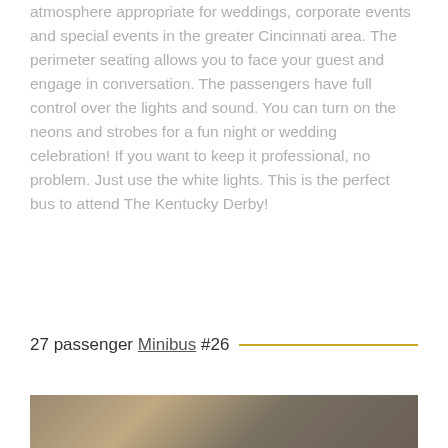atmosphere appropriate for weddings, corporate events and special events in the greater Cincinnati area. The perimeter seating allows you to face your guest and engage in conversation. The passengers have full control over the lights and sound. You can turn on the neons and strobes for a fun night or wedding celebration! If you want to keep it professional, no problem. Just use the white lights. This is the perfect bus to attend The Kentucky Derby!
BOOK NOW
27 passenger Minibus #26
[Figure (photo): Partial photo strip of a vehicle interior, cropped at bottom of page]